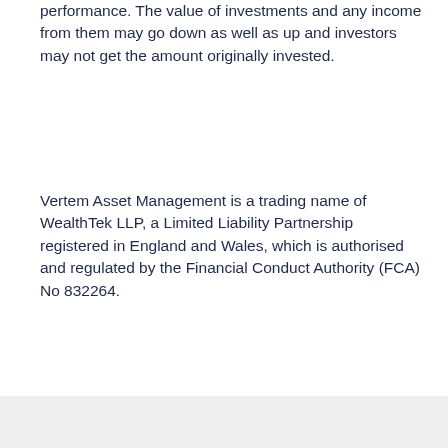performance. The value of investments and any income from them may go down as well as up and investors may not get the amount originally invested.
Vertem Asset Management is a trading name of WealthTek LLP, a Limited Liability Partnership registered in England and Wales, which is authorised and regulated by the Financial Conduct Authority (FCA) No 832264.